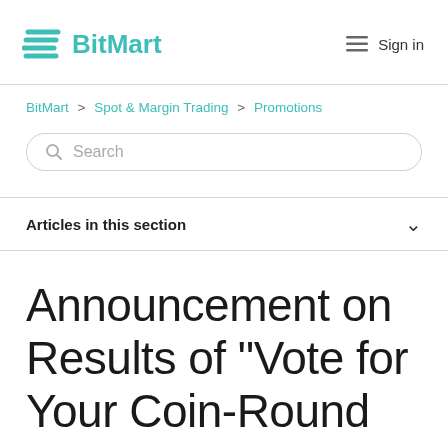BitMart
BitMart > Spot & Margin Trading > Promotions
Search
Articles in this section
Announcement on Results of "Vote for Your Coin-Round 3"